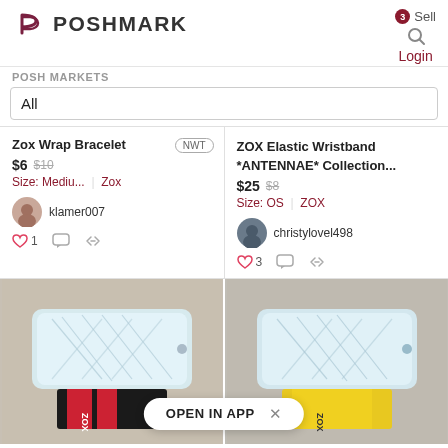[Figure (logo): Poshmark logo with icon and text, search icon, Sell link with badge, Login link]
POSH MARKETS
All
Zox Wrap Bracelet
$6  $10
Size: Mediu...  |  Zox
klamer007
♡ 1
ZOX Elastic Wristband *ANTENNAE* Collection...
$25  $8
Size: OS  |  ZOX
christylovel498
♡ 3
[Figure (photo): Two product photos of ZOX elastic wristbands, one with red/black strap and one with yellow strap, viewed from back showing clear plastic casing with geometric design. OPEN IN APP banner overlaid.]